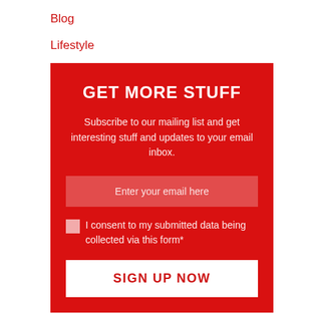Blog
Lifestyle
GET MORE STUFF
Subscribe to our mailing list and get interesting stuff and updates to your email inbox.
Enter your email here
I consent to my submitted data being collected via this form*
SIGN UP NOW